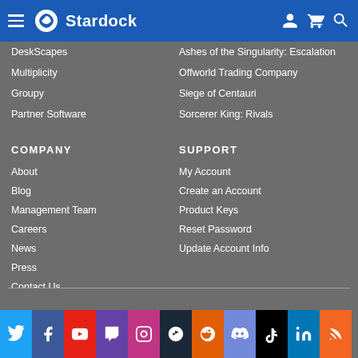Stardock navigation header
DeskScapes
Ashes of the Singularity: Escalation
Multiplicity
Offworld Trading Company
Groupy
Siege of Centauri
Partner Software
Sorcerer King: Rivals
COMPANY
SUPPORT
About
My Account
Blog
Create an Account
Management Team
Product Keys
Careers
Reset Password
News
Update Account Info
Press
Contact Us
[Figure (infographic): Social media icon bar: Twitter, Facebook, YouTube, Twitch, Instagram, Steam, Reddit, Discord, TikTok, LinkedIn, RSS]